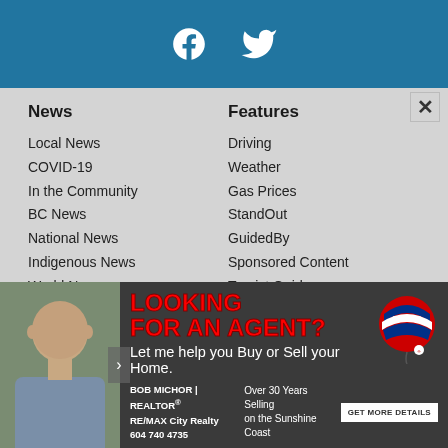[Figure (illustration): Social media header bar with Facebook and Twitter icons on blue background]
News
Local News
COVID-19
In the Community
BC News
National News
Indigenous News
World News
Real Estate
National Business
Local Sports
Features
Driving
Weather
Gas Prices
StandOut
GuidedBy
Sponsored Content
Tourist Guide
People's Choice
Classifieds
[Figure (photo): RE/MAX real estate advertisement with Bob Michor, Realtor. Text reads: LOOKING FOR AN AGENT? Let me help you Buy or Sell your Home. BOB MICHOR | REALTOR® RE/MAX City Realty 604 740 4735. Over 30 Years Selling on the Sunshine Coast. GET MORE DETAILS]